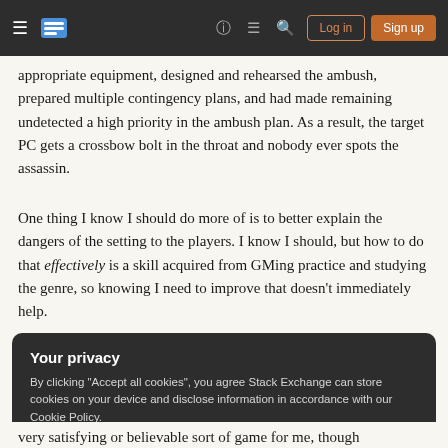[Figure (screenshot): Website navigation bar with hamburger menu, Stack Exchange logo, help icon, chat icon, search icon, Log in button, and Sign up button on dark background]
appropriate equipment, designed and rehearsed the ambush, prepared multiple contingency plans, and had made remaining undetected a high priority in the ambush plan. As a result, the target PC gets a crossbow bolt in the throat and nobody ever spots the assassin.
One thing I know I should do more of is to better explain the dangers of the setting to the players. I know I should, but how to do that effectively is a skill acquired from GMing practice and studying the genre, so knowing I need to improve that doesn't immediately help.
Your privacy
By clicking "Accept all cookies", you agree Stack Exchange can store cookies on your device and disclose information in accordance with our Cookie Policy.
very satisfying or believable sort of game for me, though